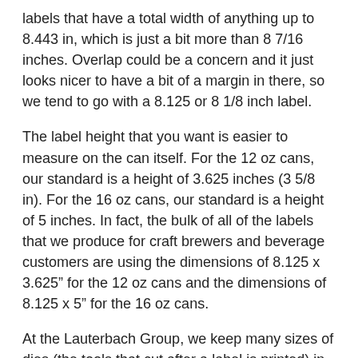labels that have a total width of anything up to 8.443 in, which is just a bit more than 8 7/16 inches. Overlap could be a concern and it just looks nicer to have a bit of a margin in there, so we tend to go with a 8.125 or 8 1/8 inch label.
The label height that you want is easier to measure on the can itself. For the 12 oz cans, our standard is a height of 3.625 inches (3 5/8 in). For the 16 oz cans, our standard is a height of 5 inches. In fact, the bulk of all of the labels that we produce for craft brewers and beverage customers are using the dimensions of 8.125 x 3.625” for the 12 oz cans and the dimensions of 8.125 x 5” for the 16 oz cans.
At the Lauterbach Group, we keep many sizes of dies (the tools that cut after a label is printed) in stock that can be used for bottle and can labels, but if you need a custom shaped or sized die, after